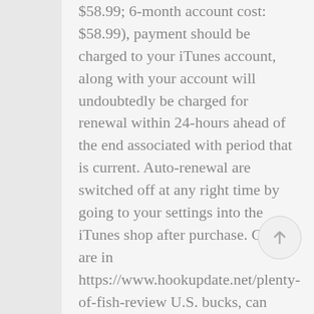$58.99; 6-month account cost: $58.99), payment should be charged to your iTunes account, along with your account will undoubtedly be charged for renewal within 24-hours ahead of the end associated with period that is current. Auto-renewal are switched off at any right time by going to your settings into the iTunes shop after purchase. Costs are in https://www.hookupdate.net/plenty-of-fish-review U.S. bucks, can vary in nations apart from the U.S. as they are susceptible to alter with no warning. No cancellation of this current subscription is permitted throughout the active registration